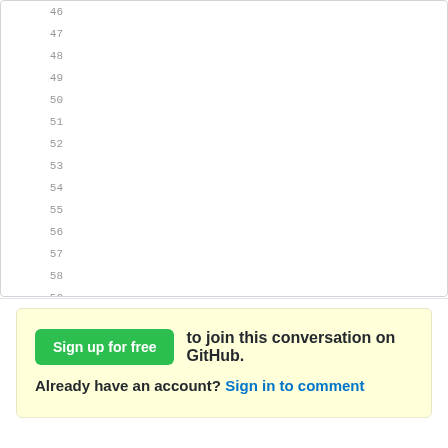46 47 48 49 50 51 52 53 54 55 56 57 58 59 60  You can define the best look and feel of the full
Sign up for free to join this conversation on GitHub. Already have an account? Sign in to comment